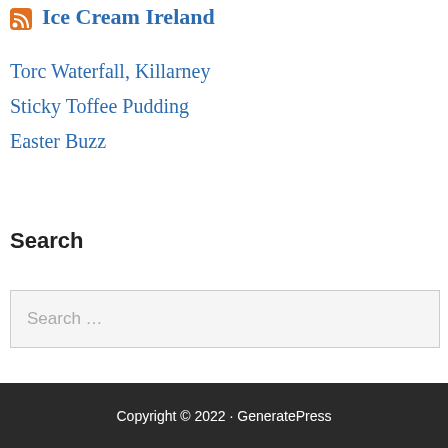Ice Cream Ireland
Torc Waterfall, Killarney
Sticky Toffee Pudding
Easter Buzz
Search
Search …
Copyright © 2022 · GeneratePress